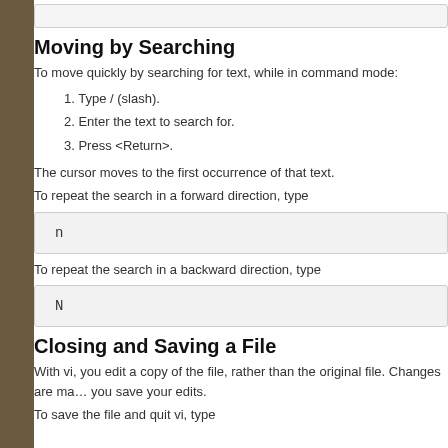Moving by Searching
To move quickly by searching for text, while in command mode:
1. Type / (slash).
2. Enter the text to search for.
3. Press <Return>.
The cursor moves to the first occurrence of that text.
To repeat the search in a forward direction, type
[Figure (screenshot): Code box showing the character 'n']
To repeat the search in a backward direction, type
[Figure (screenshot): Code box showing the character 'N']
Closing and Saving a File
With vi, you edit a copy of the file, rather than the original file. Changes are ma… you save your edits.
To save the file and quit vi, type